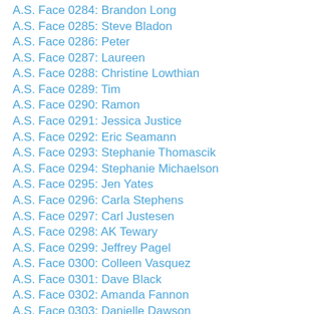A.S. Face 0284: Brandon Long
A.S. Face 0285: Steve Bladon
A.S. Face 0286: Peter
A.S. Face 0287: Laureen
A.S. Face 0288: Christine Lowthian
A.S. Face 0289: Tim
A.S. Face 0290: Ramon
A.S. Face 0291: Jessica Justice
A.S. Face 0292: Eric Seamann
A.S. Face 0293: Stephanie Thomascik
A.S. Face 0294: Stephanie Michaelson
A.S. Face 0295: Jen Yates
A.S. Face 0296: Carla Stephens
A.S. Face 0297: Carl Justesen
A.S. Face 0298: AK Tewary
A.S. Face 0299: Jeffrey Pagel
A.S. Face 0300: Colleen Vasquez
A.S. Face 0301: Dave Black
A.S. Face 0302: Amanda Fannon
A.S. Face 0303: Danielle Dawson